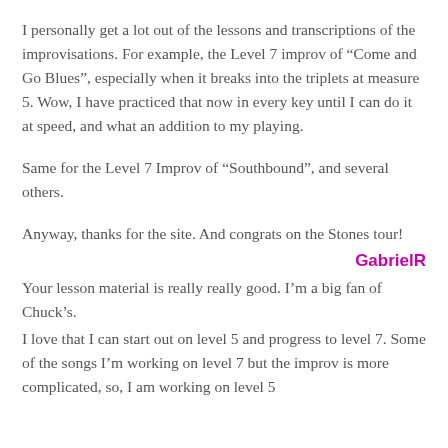I personally get a lot out of the lessons and transcriptions of the improvisations. For example, the Level 7 improv of “Come and Go Blues”, especially when it breaks into the triplets at measure 5. Wow, I have practiced that now in every key until I can do it at speed, and what an addition to my playing.
Same for the Level 7 Improv of “Southbound”, and several others.
Anyway, thanks for the site. And congrats on the Stones tour!
GabrielR
Your lesson material is really really good. I’m a big fan of Chuck’s.
I love that I can start out on level 5 and progress to level 7. Some of the songs I’m working on level 7 but the improv is more complicated, so, I am working on level 5